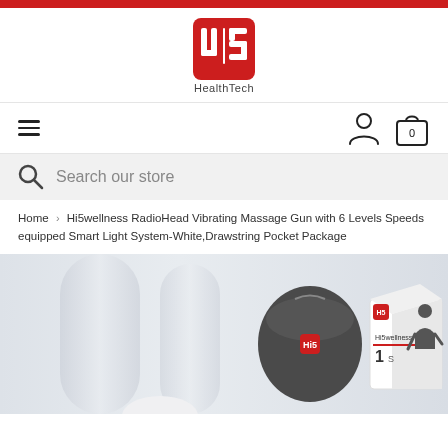[Figure (logo): Hi5 HealthTech logo — red square with white stylized 'Hi5' text inside, and 'HealthTech' below in grey]
Navigation bar with hamburger menu, user icon, and shopping bag icon with 0
Search our store
Home > Hi5wellness RadioHead Vibrating Massage Gun with 6 Levels Speeds equipped Smart Light System-White,Drawstring Pocket Package
[Figure (photo): Product photo showing a white massage gun device, a dark grey drawstring pouch with red logo, and a white product box with person using massage gun on the right side]